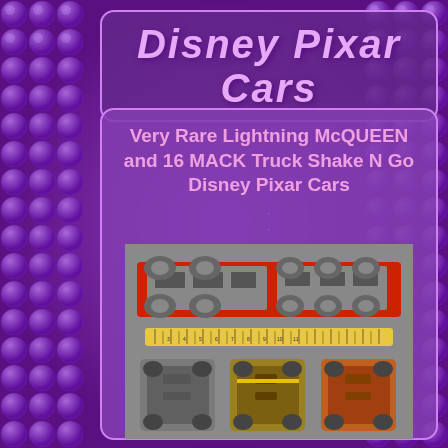Disney Pixar Cars
Very Rare Lightning McQUEEN and 16 MACK Truck Shake N Go Disney Pixar Cars
[Figure (photo): Photo showing undersides of toy cars from Disney Pixar Cars - a large Shake N Go truck on top (red with grey undercarriage and wheels visible), a tape measure in the middle, and three smaller cars on the bottom row (grey, yellow-accented, and orange cars shown upside down)]